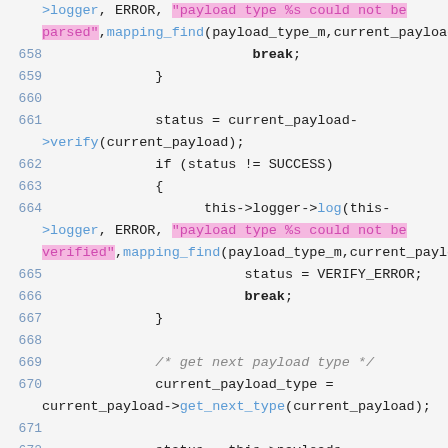[Figure (screenshot): Source code snippet (C++ style) showing lines 658-675 with syntax highlighting. Pink/magenta highlighted string literals, blue line numbers, cyan function names.]